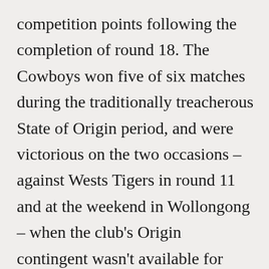competition points following the completion of round 18. The Cowboys won five of six matches during the traditionally treacherous State of Origin period, and were victorious on the two occasions – against Wests Tigers in round 11 and at the weekend in Wollongong – when the club's Origin contingent wasn't available for club duties. Their only loss in that period came against the Sharks in round 16